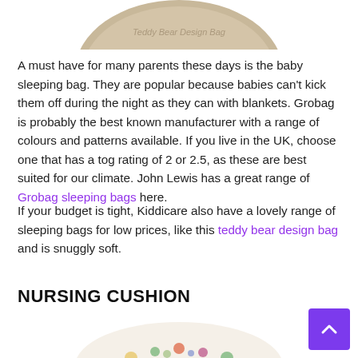[Figure (photo): Partial top view of a beige/tan baby sleeping bag with watermark text 'Teddy Bear Design Bag']
A must have for many parents these days is the baby sleeping bag. They are popular because babies can't kick them off during the night as they can with blankets. Grobag is probably the best known manufacturer with a range of colours and patterns available. If you live in the UK, choose one that has a tog rating of 2 or 2.5, as these are best suited for our climate. John Lewis has a great range of Grobag sleeping bags here.
If your budget is tight, Kiddicare also have a lovely range of sleeping bags for low prices, like this teddy bear design bag and is snuggly soft.
NURSING CUSHION
[Figure (photo): Partial top view of a circular nursing cushion with colorful woodland animal pattern (foxes, owls, trees, deer)]